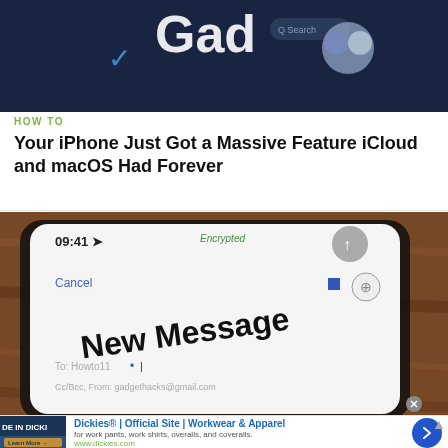[Figure (photo): Close-up of a smartphone screen showing contact names on a dark blue background, with 'Gad' text partially visible at top and names like 'John Burke', 'Justin Meyers', 'Simha Murphy', 'Xyster', 'Yolufinger' visible]
HOW TO
Your iPhone Just Got a Massive Feature iCloud and macOS Had Forever
[Figure (photo): Close-up of an iPhone screen showing a New Message compose screen with 'Encrypted' label, time 09:41, To: Howto11, CC/Bcc From: gadgethacks@gmail.com, on a wooden surface]
[Figure (screenshot): Advertisement for Dickies - Official Site - Workwear & Apparel. Shows thumbnail with 'DE IN DICKI' text and sunset image. Ad text: 'for work pants, work shirts, overalls, and coveralls. www.dickies.com']